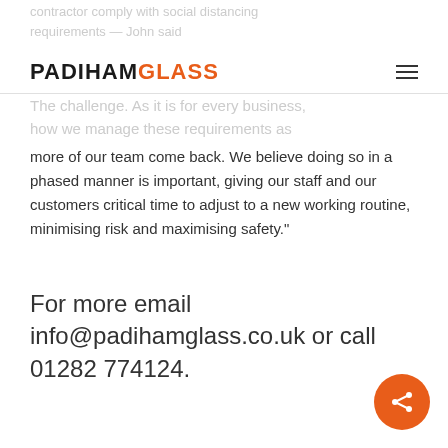contractor comply with social distancing requirements — John said
[Figure (logo): Padiham Glass logo with black and orange text, and a hamburger menu icon on the right]
The challenge. As it is for every business, how we manage these requirements as more of our team come back. We believe doing so in a phased manner is important, giving our staff and our customers critical time to adjust to a new working routine, minimising risk and maximising safety."
For more email info@padihamglass.co.uk or call 01282 774124.